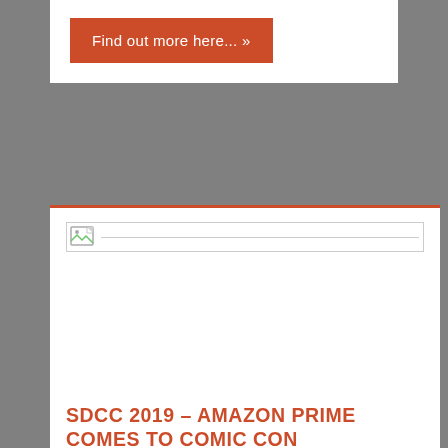Find out more here... »
[Figure (illustration): Broken/missing image placeholder with a small icon and horizontal line]
SDCC 2019 – AMAZON PRIME COMES TO COMIC CON
July 14, 2019   Eric Seuthe II